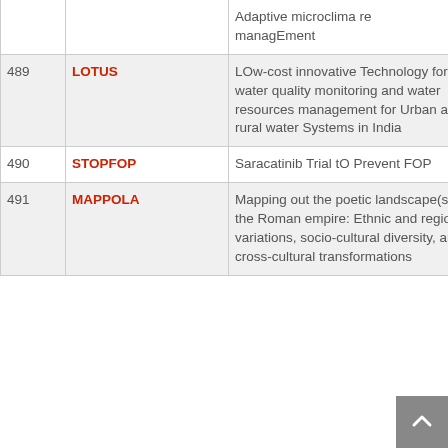| # | Acronym | Full Name |
| --- | --- | --- |
|  |  | Adaptive microclimate management |
| 489 | LOTUS | LOw-cost innovative Technology for water quality monitoring and water resources management for Urban and rural water Systems in India |
| 490 | STOPFOP | Saracatinib Trial tO Prevent FOP |
| 491 | MAPPOLA | Mapping out the poetic landscape(s) of the Roman empire: Ethnic and regional variations, socio-cultural diversity, and cross-cultural transformations |